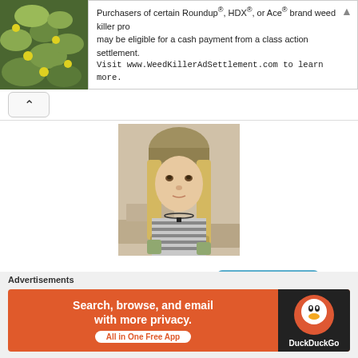[Figure (infographic): Top banner advertisement for Roundup/HDX/Ace weed killer class action settlement with plant background image on left and ad text on right]
Purchasers of certain Roundup®, HDX®, or Ace® brand weed killer products may be eligible for a cash payment from a class action settlement. Visit www.WeedKillerAdSettlement.com to learn more.
[Figure (photo): Profile photo of a young woman with long blonde hair wearing a beanie hat and striped shirt, outdoors]
CASSMCLAUGHLIN
SUBSCRIBER
Sorry! The Author has not filled his profile.
Advertisements
[Figure (infographic): DuckDuckGo advertisement: Search, browse, and email with more privacy. All in One Free App. Orange background with DuckDuckGo logo on dark right panel.]